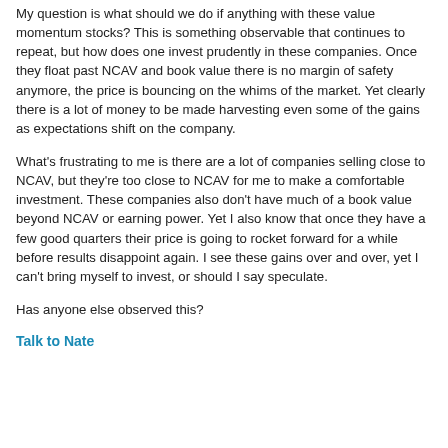My question is what should we do if anything with these value momentum stocks?  This is something observable that continues to repeat, but how does one invest prudently in these companies.  Once they float past NCAV and book value there is no margin of safety anymore, the price is bouncing on the whims of the market.  Yet clearly there is a lot of money to be made harvesting even some of the gains as expectations shift on the company.
What's frustrating to me is there are a lot of companies selling close to NCAV, but they're too close to NCAV for me to make a comfortable investment.  These companies also don't have much of a book value beyond NCAV or earning power.  Yet I also know that once they have a few good quarters their price is going to rocket forward for a while before results disappoint again.  I see these gains over and over, yet I can't bring myself to invest, or should I say speculate.
Has anyone else observed this?
Talk to Nate